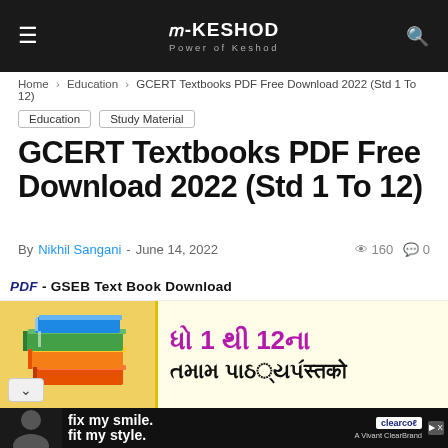I-KESHOD — Power of Keshod
Home > Education > GCERT Textbooks PDF Free Download 2022 (Std 1 To 12)
Education
Study Material
GCERT Textbooks PDF Free Download 2022 (Std 1 To 12)
By Nikhil Sangani - June 14, 2022  160  0
[Figure (illustration): PDF - GSEB Text Book Download banner image showing stacked colorful books on a yellow background with Gujarati text 'ધો 1 થી 12ના તમામ પાઠ્યપустको']
[Figure (photo): Advertisement banner: 'fix my smile. fit my style.' ClearCo clear aligners ad with smiling person on dark background]